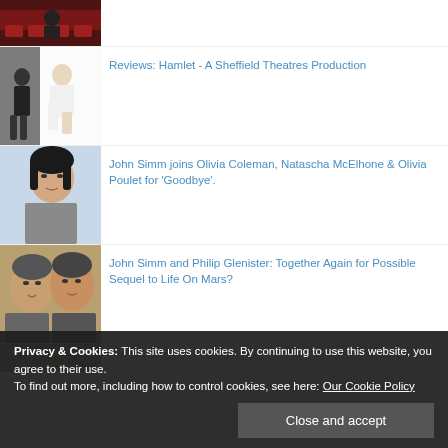[Figure (photo): Thumbnail photo - dark scene with red seats]
[Figure (photo): Thumbnail photo - Hamlet Sheffield Theatres production, actor in white shirt kneeling]
Reviews: Hamlet - A Sheffield Theatres Production
[Figure (photo): Thumbnail photo - woman with short dark hair, Olivia Coleman]
John Simm joins Olivia Coleman, Natascha McElhone & Olivia Poulet for 'Goodbye'.
[Figure (photo): Thumbnail photo - two men selfie, John Simm and Philip Glenister]
John Simm and Philip Glenister: Together Again for Possible Sequel to Life On Mars?
[Figure (photo): Thumbnail photo - partial, bottom of page]
Privacy & Cookies: This site uses cookies. By continuing to use this website, you agree to their use.
To find out more, including how to control cookies, see here: Our Cookie Policy
Close and accept